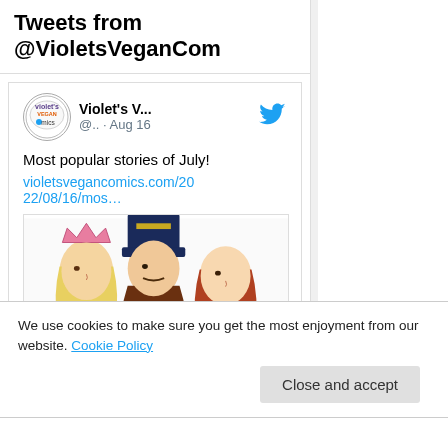Tweets from @VioletsVeganCom
Violet's V... @.. · Aug 16
Most popular stories of July!
violetsvegancomics.com/2022/08/16/mos…
[Figure (illustration): Three illustrated playing card king/queen figures with crowns and medieval costumes, with cursive text 'The' at bottom]
We use cookies to make sure you get the most enjoyment from our website. Cookie Policy
Close and accept